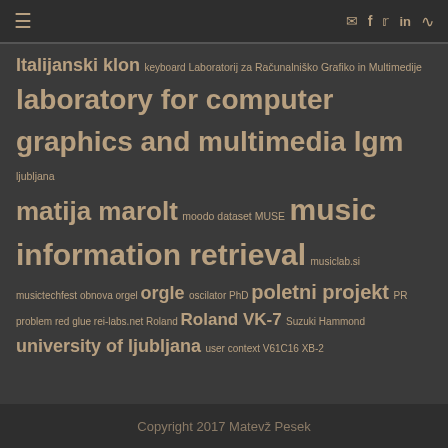☰ (menu icon) | ✉ f 🐦 in ⌁ (social icons)
Italijanski klon keyboard Laboratorij za Računalniško Grafiko in Multimedije laboratory for computer graphics and multimedia lgm ljubljana matija marolt moodo dataset MUSE music information retrieval musiclab.si musictechfest obnova orgel orgle oscilator PhD poletni projekt PR problem red glue rei-labs.net Roland Roland VK-7 Suzuki Hammond university of ljubljana user context V61C16 XB-2
Copyright 2017 Matevž Pesek